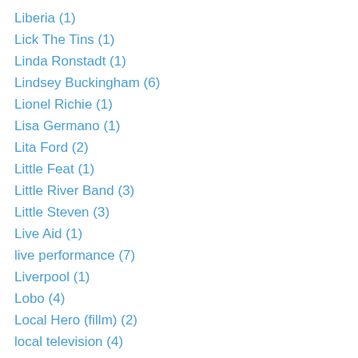Liberia (1)
Lick The Tins (1)
Linda Ronstadt (1)
Lindsey Buckingham (6)
Lionel Richie (1)
Lisa Germano (1)
Lita Ford (2)
Little Feat (1)
Little River Band (3)
Little Steven (3)
Live Aid (1)
live performance (7)
Liverpool (1)
Lobo (4)
Local Hero (fillm) (2)
local television (4)
Lockerbie (1)
Lone Justice (3)
Looking Glass (2)
Los Lobos (3)